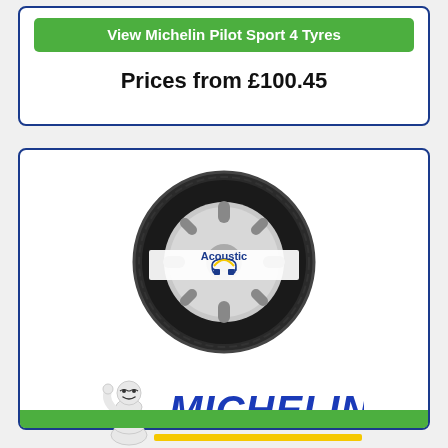View Michelin Pilot Sport 4 Tyres
Prices from £100.45
[Figure (photo): Michelin Pilot Sport 4 Acoustic tyre product image with Acoustic logo overlay]
[Figure (logo): Michelin man mascot and MICHELIN brand logo with yellow underline]
Pilot Sport 4 (Acoustic)